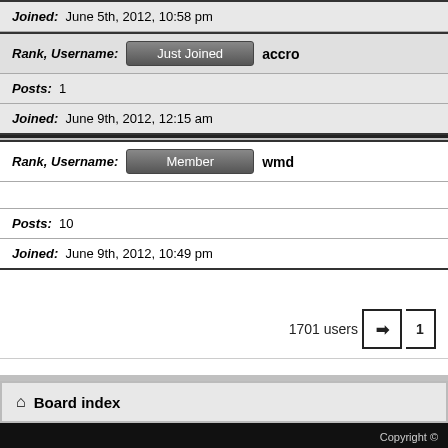Joined: June 5th, 2012, 10:58 pm
Rank, Username: Just Joined  accro
Posts: 1
Joined: June 9th, 2012, 12:15 am
Rank, Username: Member  wmd
Posts: 10
Joined: June 9th, 2012, 10:49 pm
1701 users
Board index
Copyright ©  . "PlayStation", PlayStation. △○×□, "DUALSHOCK", "Net Yar... This page is for informational use only. The user of this software, as... The software and hardware on this site is provide...